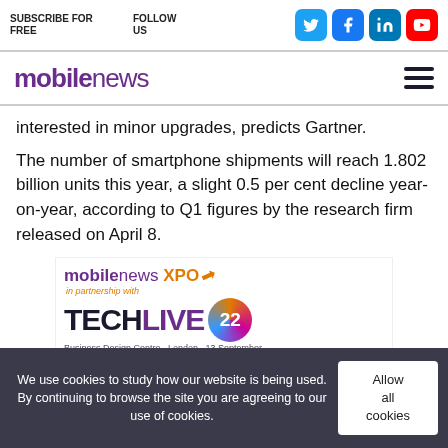SUBSCRIBE FOR FREE | FOLLOW US | Social icons: Twitter, Facebook, LinkedIn, YouTube
[Figure (logo): mobilenews logo with hamburger menu icon]
interested in minor upgrades, predicts Gartner.
The number of smartphone shipments will reach 1.802 billion units this year, a slight 0.5 per cent decline year-on-year, according to Q1 figures by the research firm released on April 8.
[Figure (logo): mobilenews XPO in partnership with TECHLIVE22 - Business Design Centre - London - 13 September]
We use cookies to study how our website is being used. By continuing to browse the site you are agreeing to our use of cookies.